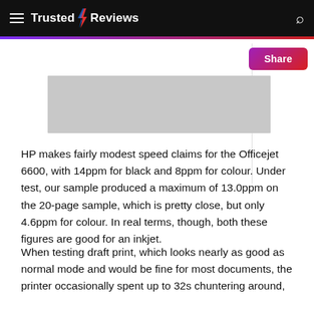Trusted Reviews
[Figure (photo): Gray placeholder image, partially visible at top of content area]
HP makes fairly modest speed claims for the Officejet 6600, with 14ppm for black and 8ppm for colour. Under test, our sample produced a maximum of 13.0ppm on the 20-page sample, which is pretty close, but only 4.6ppm for colour. In real terms, though, both these figures are good for an inkjet.
When testing draft print, which looks nearly as good as normal mode and would be fine for most documents, the printer occasionally spent up to 32s chuntering around, before starting to print the first page. This is a long time for a